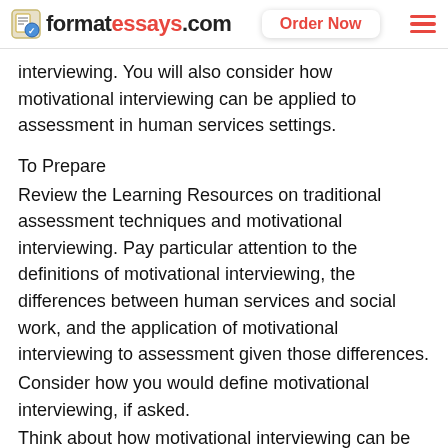formatessays.com   Order Now
interviewing. You will also consider how motivational interviewing can be applied to assessment in human services settings.
To Prepare
Review the Learning Resources on traditional assessment techniques and motivational interviewing. Pay particular attention to the definitions of motivational interviewing, the differences between human services and social work, and the application of motivational interviewing to assessment given those differences.
Consider how you would define motivational interviewing, if asked.
Think about how motivational interviewing can be applied to assessment in a human services setting with which you are familiar or interested in working.
Submit a 1- to 2-page paper that addresses the following: Describe what you believe motivational interviewing is and how you believe it can be applied to assessment in human services settings.